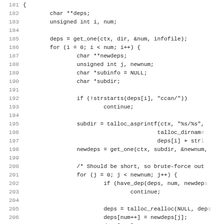Source code listing, lines 181-212, C language code showing dependency resolution logic with talloc memory allocation.